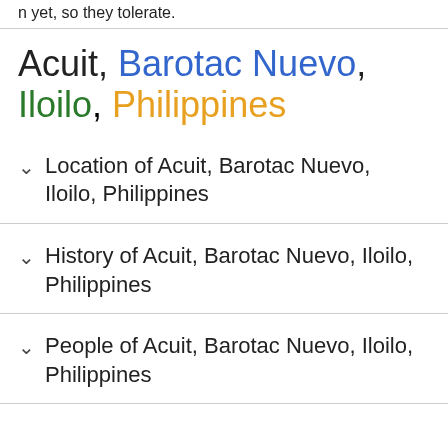n yet, so they tolerate.
Acuit, Barotac Nuevo, Iloilo, Philippines
Location of Acuit, Barotac Nuevo, Iloilo, Philippines
History of Acuit, Barotac Nuevo, Iloilo, Philippines
People of Acuit, Barotac Nuevo, Iloilo, Philippines